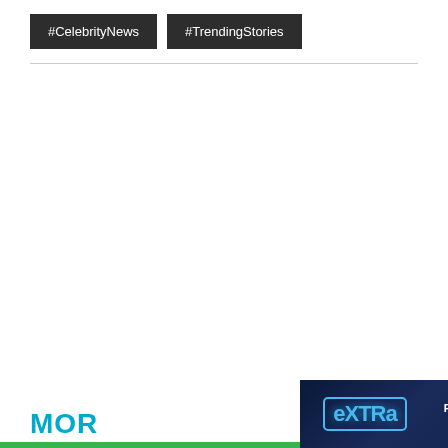#CelebrityNews
#TrendingStories
MOR
[Figure (screenshot): Extra TV advertisement banner showing 'eXTRa' logo and 'FIND OUT WHERE TO WATCH »' text with a close button]